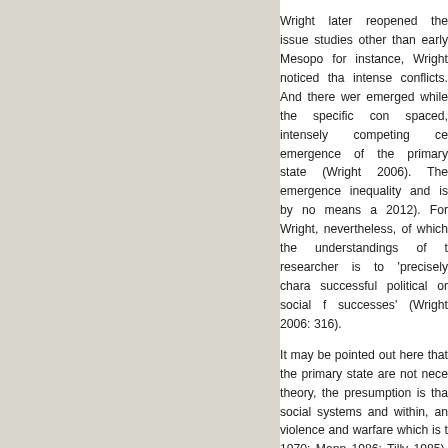Wright later reopened the issue studies other than early Mesopo for instance, Wright noticed tha intense conflicts. And there wer emerged while the specific con spaced, intensely competing ce emergence of the primary state (Wright 2006). The emergence inequality and is by no means a 2012). For Wright, nevertheless, of which the understandings of t researcher is to 'precisely chara successful political or social f successes' (Wright 2006: 316).
It may be pointed out here that the primary state are not nece theory, the presumption is tha social systems and within, an violence and warfare which is t 1970; Mann 1986; Tilly 1985). T leader can maintain a stable o parties (Adams 2008; Dickso processes of state formation m conflict theories of state forma expressed such conflicts (Wrigh at this juncture that, Algaze's lo with conflict theory for the em